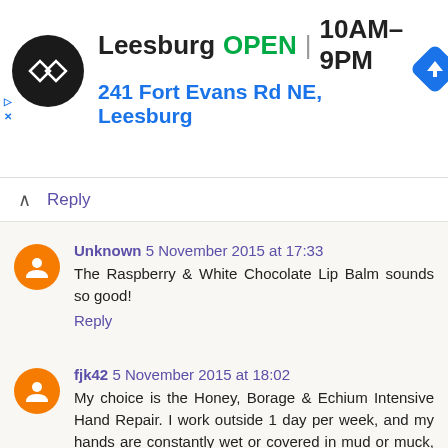[Figure (screenshot): Ad banner for store in Leesburg showing logo, OPEN status, hours 10AM-9PM, address 241 Fort Evans Rd NE Leesburg, and navigation icon]
Reply
Unknown 5 November 2015 at 17:33
The Raspberry & White Chocolate Lip Balm sounds so good!
Reply
fjk42 5 November 2015 at 18:02
My choice is the Honey, Borage & Echium Intensive Hand Repair. I work outside 1 day per week, and my hands are constantly wet or covered in mud or muck, so they could do with a good repair cream.
Reply